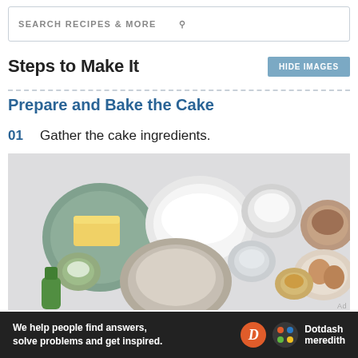SEARCH RECIPES & MORE
Steps to Make It
Prepare and Bake the Cake
01  Gather the cake ingredients.
[Figure (photo): Overhead flat-lay of cake ingredients in bowls: butter, sugar, flour, milk, cocoa powder, baking soda, eggs, and honey on a light gray surface.]
We help people find answers, solve problems and get inspired. Dotdash meredith